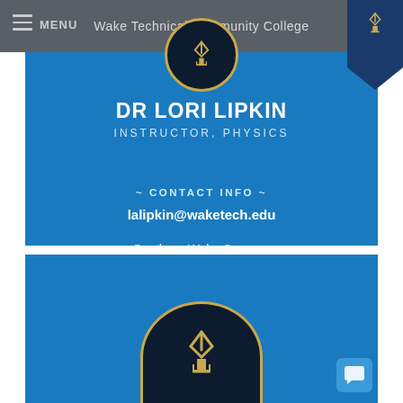Wake Technical Community College
MENU
DR LORI LIPKIN
INSTRUCTOR, PHYSICS
~ CONTACT INFO ~
lalipkin@waketech.edu
Southern Wake Campus
Building C - 101E
919-866-5984 (office)
[Figure (logo): Wake Technical Community College logo - stylized torch/flame emblem in circle, bottom section]